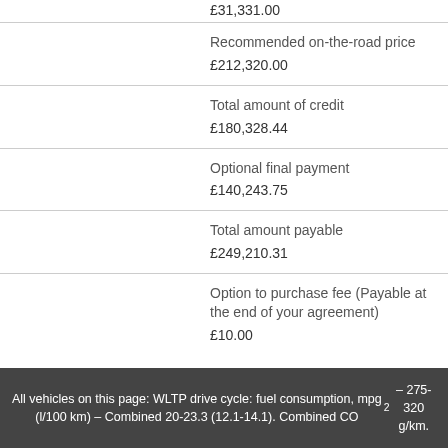£31,331.00
|  |  |
| --- | --- |
|  | Recommended on-the-road price
£212,320.00 |
|  | Total amount of credit
£180,328.44 |
|  | Optional final payment
£140,243.75 |
|  | Total amount payable
£249,210.31 |
|  | Option to purchase fee (Payable at the end of your agreement)
£10.00 |
All vehicles on this page: WLTP drive cycle: fuel consumption, mpg (l/100 km) – Combined 20-23.3 (12.1-14.1). Combined CO₂ – 275-320 g/km.